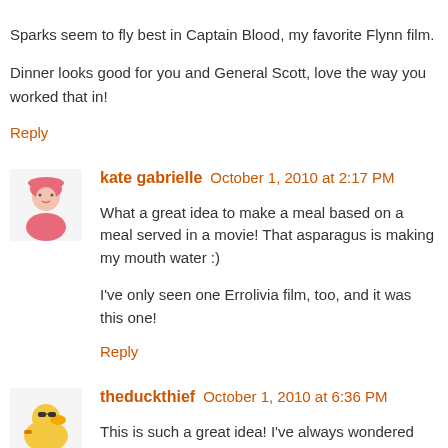Sparks seem to fly best in Captain Blood, my favorite Flynn film.
Dinner looks good for you and General Scott, love the way you worked that in!
Reply
kate gabrielle  October 1, 2010 at 2:17 PM
What a great idea to make a meal based on a meal served in a movie! That asparagus is making my mouth water :)
I've only seen one Errolivia film, too, and it was this one!
Reply
theduckthief  October 1, 2010 at 6:36 PM
This is such a great idea! I've always wondered about food from classic movies and whether they would actually taste appetizing but you've taken it to a different level.
Reply